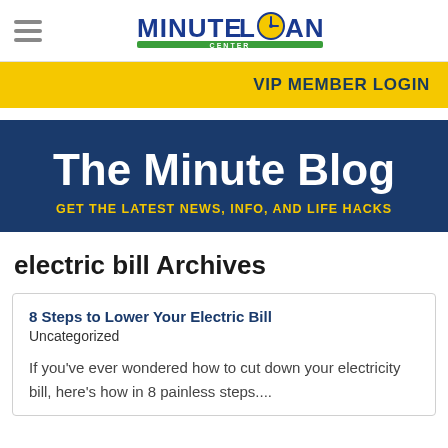[Figure (logo): Minute Loan Center logo with clock in the O of LOAN, green and blue text on white background]
VIP MEMBER LOGIN
The Minute Blog
GET THE LATEST NEWS, INFO, AND LIFE HACKS
electric bill Archives
8 Steps to Lower Your Electric Bill
Uncategorized

If you've ever wondered how to cut down your electricity bill, here's how in 8 painless steps....